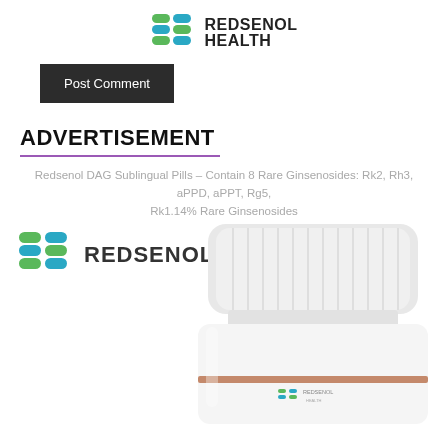[Figure (logo): Redsenol Health logo with colorful pill-shaped icons and bold text REDSENOL HEALTH]
[Figure (other): Dark grey 'Post Comment' button]
ADVERTISEMENT
Redsenol DAG Sublingual Pills – Contain 8 Rare Ginsenosides: Rk2, Rh3, aPPD, aPPT, Rg5, Rk1.14% Rare Ginsenosides
[Figure (photo): Redsenol brand logo with pill icons on left, and partial photo of a white supplement bottle with white cap on right]